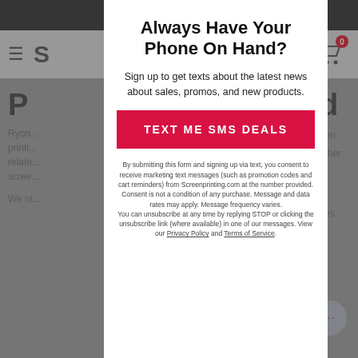[Figure (screenshot): Background of a screenprinting website with dark top bar, navigation bar with hamburger menu and cart icon showing 0 items, partially visible page heading and body text, and a chat bubble in the bottom right corner.]
Always Have Your Phone On Hand?
Sign up to get texts about the latest news about sales, promos, and new products.
TEXT ME SMS DEALS
By submitting this form and signing up via text, you consent to receive marketing text messages (such as promotion codes and cart reminders) from Screenprinting.com at the number provided. Consent is not a condition of any purchase. Message and data rates may apply. Message frequency varies. You can unsubscribe at any time by replying STOP or clicking the unsubscribe link (where available) in one of our messages. View our Privacy Policy and Terms of Service.